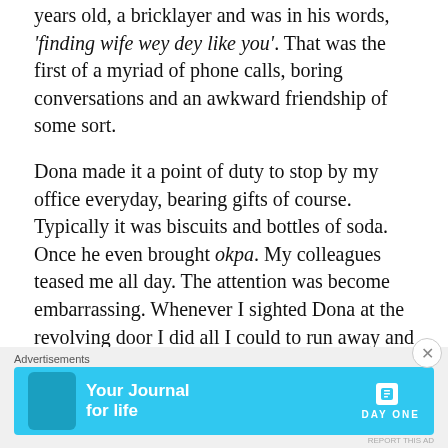years old, a bricklayer and was in his words, 'finding wife wey dey like you'. That was the first of a myriad of phone calls, boring conversations and an awkward friendship of some sort.
Dona made it a point of duty to stop by my office everyday, bearing gifts of course. Typically it was biscuits and bottles of soda. Once he even brought okpa. My colleagues teased me all day. The attention was become embarrassing. Whenever I sighted Dona at the revolving door I did all I could to run away and hide till I was certain he was gone. Sometimes I succeeded, sometimes I failed. I had to plead with Dona to stop the visits and only come around when he needed to carry out a transaction. He obliged me, or so I thought. A few months passed by, Dona
[Figure (other): Advertisement banner for Day One journal app with light blue background, showing app icon and text 'Your Journal for life' with Day One branding]